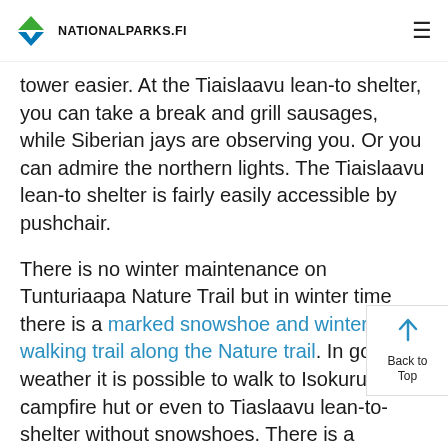NATIONALPARKS.FI
tower easier. At the Tiaislaavu lean-to shelter, you can take a break and grill sausages, while Siberian jays are observing you. Or you can admire the northern lights. The Tiaislaavu lean-to shelter is fairly easily accessible by pushchair.

There is no winter maintenance on Tunturiaapa Nature Trail but in winter time there is a marked snowshoe and winter walking trail along the Nature trail. In good weather it is possible to walk to Isokuru campfire hut or even to Tiaslaavu lean-to-shelter without snowshoes. There is a separate fothike